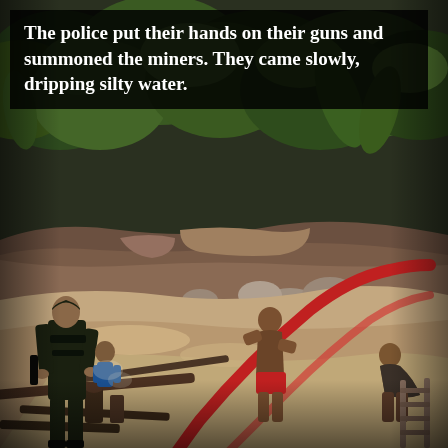[Figure (photo): A law enforcement officer in military-style gear stands at left watching over a muddy illegal mining site in a tropical rainforest. Miners, including a shirtless man in red shorts and another person bent over at right, work in the silty water and rubble. A red hose stretches across the scene. Dense green jungle vegetation forms the background.]
The police put their hands on their guns and summoned the miners. They came slowly, dripping silty water.